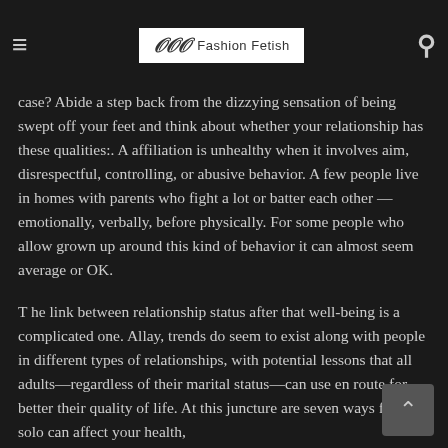Fashion Fetish
case? Abide a step back from the dizzying sensation of being swept off your feet and think about whether your relationship has these qualities:. A affiliation is unhealthy when it involves aim, disrespectful, controlling, or abusive behavior. A few people live in homes with parents who fight a lot or batter each other — emotionally, verbally, before physically. For some people who allow grown up around this kind of behavior it can almost seem average or OK.
T he link between relationship status after that well-being is a complicated one. Allay, trends do seem to exist along with people in different types of relationships, with potential lessons that all adults—regardless of their marital status—can use en route for better their quality of life. At this juncture are seven ways flying solo can affect your health,